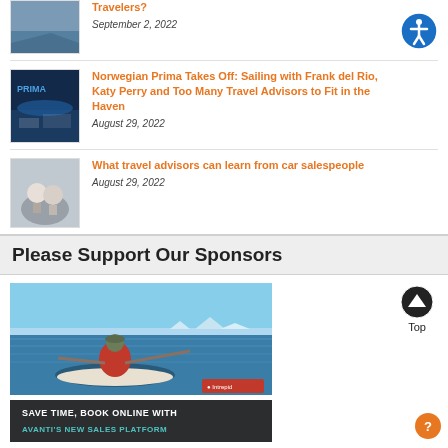Travelers? — September 2, 2022
Norwegian Prima Takes Off: Sailing with Frank del Rio, Katy Perry and Too Many Travel Advisors to Fit in the Haven — August 29, 2022
What travel advisors can learn from car salespeople — August 29, 2022
Please Support Our Sponsors
[Figure (photo): Person kayaking in cold arctic water with icebergs in background, Intrepid brand ad]
[Figure (infographic): Dark banner ad reading: SAVE TIME, BOOK ONLINE WITH AVANTI'S NEW SALES PLATFORM]